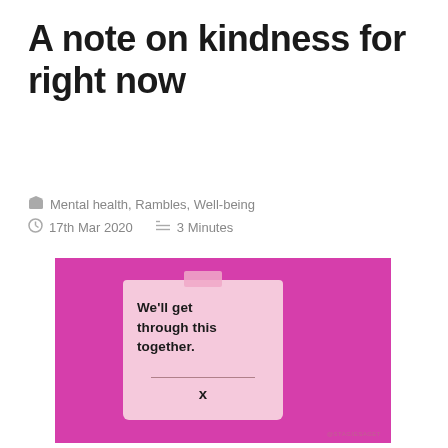A note on kindness for right now
Mental health, Rambles, Well-being
17th Mar 2020   3 Minutes
[Figure (illustration): Pink/magenta square background with a hand-drawn style sticky note illustration. The note reads 'We'll get through this together.' with a line and an 'x' below, and tape at the top. Small watermark '@STAGIESAGET' at bottom right.]